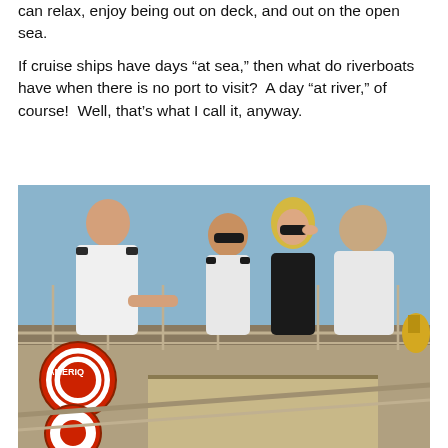can relax, enjoy being out on deck, and out on the open sea.
If cruise ships have days “at sea,” then what do riverboats have when there is no port to visit?  A day “at river,” of course!  Well, that’s what I call it, anyway.
[Figure (photo): Photograph of four people standing on the upper deck of a riverboat. From left to right: a bald man in a white uniform shirt with shoulder epaulettes leaning on a railing, a man in a white uniform shirt wearing sunglasses, a blonde woman in dark clothing adjusting her sunglasses, and a heavier-set man in a white shirt. A red life preserver ring with 'AMERIQ...' text is visible on the left railing. A brass bell or horn is visible on the right side. The background shows a clear blue sky.]